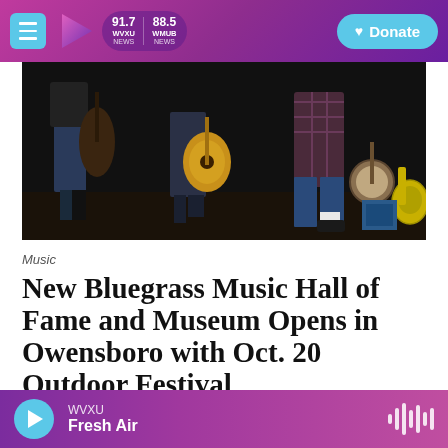WVXU 91.7 NEWS | WMUB 88.5 NEWS | Donate
[Figure (photo): Musicians performing bluegrass music on stage, showing lower bodies with guitars and banjo instruments visible against a dark background]
Music
New Bluegrass Music Hall of Fame and Museum Opens in Owensboro with Oct. 20 Outdoor Festival
Rhonda Miller  October 18, 2018
WVXU | Fresh Air